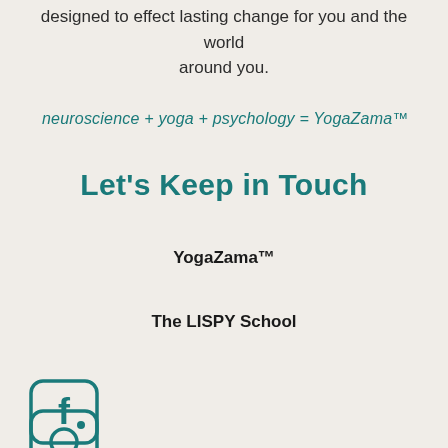designed to effect lasting change for you and the world around you.
neuroscience + yoga + psychology = YogaZama™
Let's Keep in Touch
YogaZama™
The LISPY School
[Figure (logo): Facebook icon - rounded square with 'f' logo in teal outline style]
[Figure (logo): Instagram icon - rounded square with camera outline in teal outline style]